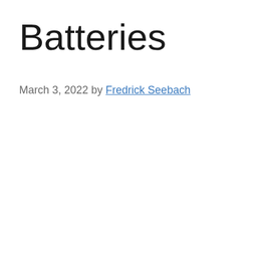Batteries
March 3, 2022 by Fredrick Seebach